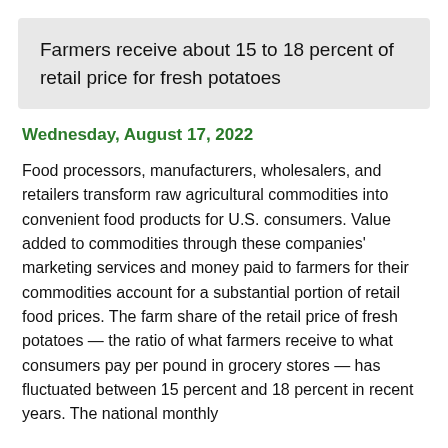Farmers receive about 15 to 18 percent of retail price for fresh potatoes
Wednesday, August 17, 2022
Food processors, manufacturers, wholesalers, and retailers transform raw agricultural commodities into convenient food products for U.S. consumers. Value added to commodities through these companies' marketing services and money paid to farmers for their commodities account for a substantial portion of retail food prices. The farm share of the retail price of fresh potatoes — the ratio of what farmers receive to what consumers pay per pound in grocery stores — has fluctuated between 15 percent and 18 percent in recent years. The national monthly